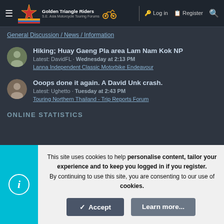Golden Triangle Riders — S.E. Asia Motorcycle Touring Forums | Log in | Register
General Discussion / News / Information
Hiking; Huay Gaeng Pla area Lam Nam Kok NP
Latest: DavidFL · Wednesday at 2:13 PM
Lanna Independent Classic Motorbike Endeavour
Ooops done it again. A David Unk crash.
Latest: Ughetto · Tuesday at 2:43 PM
Touring Northern Thailand - Trip Reports Forum
ONLINE STATISTICS
This site uses cookies to help personalise content, tailor your experience and to keep you logged in if you register.
By continuing to use this site, you are consenting to our use of cookies.